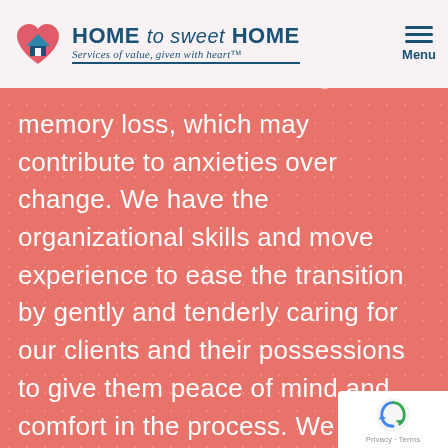[Figure (logo): Home to Sweet Home logo with heart/house icon and tagline 'Services of value, given with heart™']
minds off health challenges and important
memory loss, which may contribute to anxieties over change. We have the organizational skills and move experience to ease the transition by gently and tenderly caring for our clients and their possessions to give them peace of mind and comfort in the process. We are always considerate of the emotional, physical, and dietary needs of our cli…